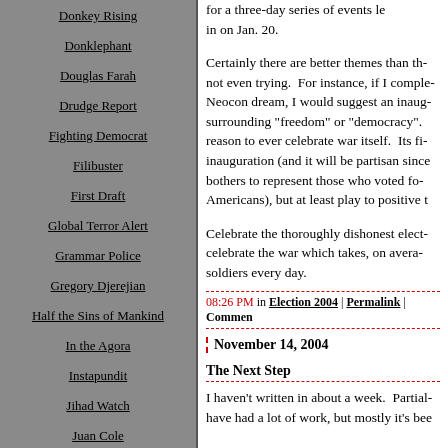Donkey Rising
Donklephant
Douglas Farah
Drudge Report
Fighting Democrat
Filibuster
First Draft
Global Terror Alert
Grammar Police
Gregory Djerejian
Half the Sins of Mankind
In the Agora
Instapundit
Jihad Watch
Juan Cole
Kapitalismo
Kenyon Democrats
Kicking Ass
for a three-day series of events le... in on Jan. 20.
Certainly there are better themes than th... not even trying. For instance, if I comple... Neocon dream, I would suggest an inaug... surrounding "freedom" or "democracy". reason to ever celebrate war itself. Its fi... inauguration (and it will be partisan since bothers to represent those who voted fo... Americans), but at least play to positive t...
Celebrate the thoroughly dishonest elect... celebrate the war which takes, on avera... soldiers every day.
08:26 PM in Election 2004 | Permalink | Commen...
November 14, 2004
The Next Step
I haven't written in about a week. Partial... have had a lot of work, but mostly it's bee...